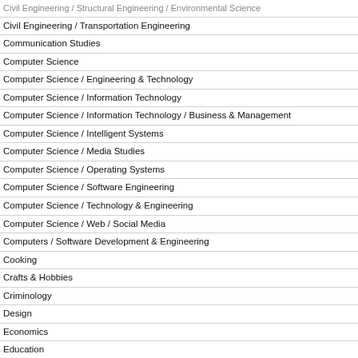Civil Engineering / Structural Engineering / Environmental Science
Civil Engineering / Transportation Engineering
Communication Studies
Computer Science
Computer Science / Engineering & Technology
Computer Science / Information Technology
Computer Science / Information Technology / Business & Management
Computer Science / Intelligent Systems
Computer Science / Media Studies
Computer Science / Operating Systems
Computer Science / Software Engineering
Computer Science / Technology & Engineering
Computer Science / Web / Social Media
Computers / Software Development & Engineering
Cooking
Crafts & Hobbies
Criminology
Design
Economics
Education